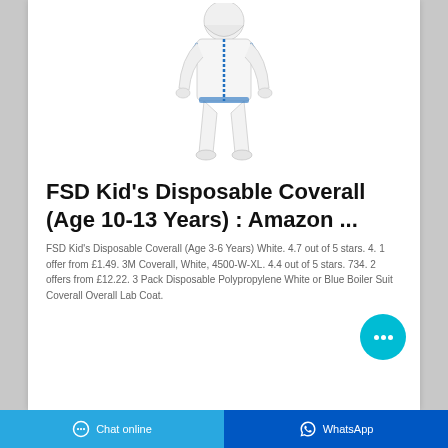[Figure (photo): A white disposable coverall/hazmat suit with blue zipper and trim, displayed on a figure, shown from front view.]
FSD Kid's Disposable Coverall (Age 10-13 Years) : Amazon ...
FSD Kid's Disposable Coverall (Age 3-6 Years) White. 4.7 out of 5 stars. 4. 1 offer from £1.49. 3M Coverall, White, 4500-W-XL. 4.4 out of 5 stars. 734. 2 offers from £12.22. 3 Pack Disposable Polypropylene White or Blue Boiler Suit Coverall Overall Lab Coat.